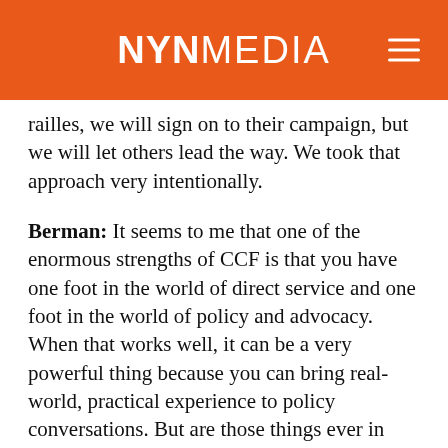NYNMEDIA
railles, we will sign on to their campaign, but we will let others lead the way. We took that approach very intentionally.
Berman: It seems to me that one of the enormous strengths of CCF is that you have one foot in the world of direct service and one foot in the world of policy and advocacy. When that works well, it can be a very powerful thing because you can bring real-world, practical experience to policy conversations. But are those things ever in tension? Do you ever find it hard to be great at both direct practice and at advocacy?
Nixon: It was hard until I put the right team together. That took me a couple of tries. But if you